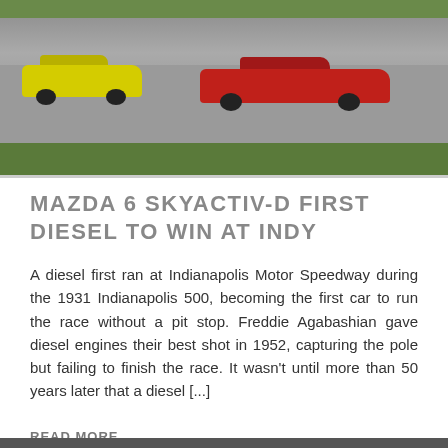[Figure (photo): Racing cars on a track — a yellow Mazda 6 and a red Mazda 6 racing side by side on a gray asphalt track with green grass in the background.]
MAZDA 6 SKYACTIV-D FIRST DIESEL TO WIN AT INDY
A diesel first ran at Indianapolis Motor Speedway during the 1931 Indianapolis 500, becoming the first car to run the race without a pit stop. Freddie Agabashian gave diesel engines their best shot in 1952, capturing the pole but failing to finish the race. It wasn't until more than 50 years later that a diesel [...]
READ MORE